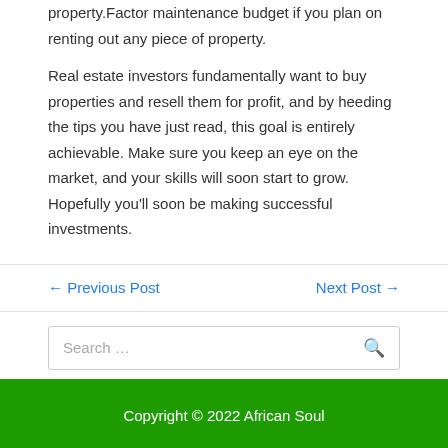property.Factor maintenance budget if you plan on renting out any piece of property.
Real estate investors fundamentally want to buy properties and resell them for profit, and by heeding the tips you have just read, this goal is entirely achievable. Make sure you keep an eye on the market, and your skills will soon start to grow. Hopefully you'll soon be making successful investments.
← Previous Post
Next Post →
Search …
Copyright © 2022 African Soul